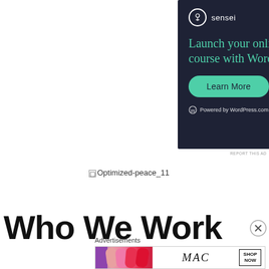[Figure (illustration): Sensei advertisement banner with dark navy background. Features Sensei logo (tree icon in circle) with brand name, headline 'Launch your online course with WordPress' in teal/green, a 'Learn More' button in teal, and 'Powered by WordPress.com' footer text.]
REPORT THIS AD
[Figure (illustration): Broken image placeholder showing alt text 'Optimized-peace_11']
Who We Work
Advertisements
[Figure (illustration): MAC cosmetics advertisement banner showing colorful lipsticks on left, MAC logo in center, and 'SHOP NOW' button on right.]